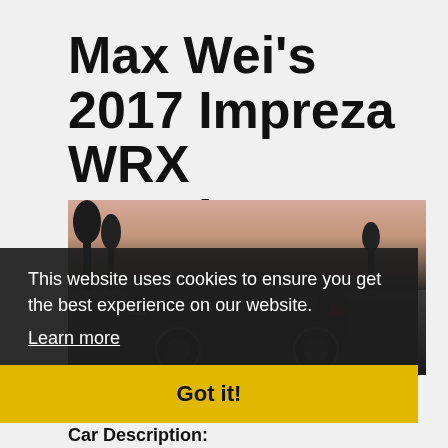Max Wei's 2017 Impreza WRX Premium
Member #4662
[Figure (photo): Dark photo of a Subaru WRX car parked outdoors at dusk/sunset, with trees in background]
This website uses cookies to ensure you get the best experience on our website. Learn more
Got it!
Car Description: